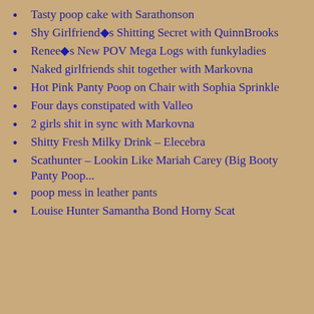Tasty poop cake with Sarathonson
Shy Girlfriend�s Shitting Secret with QuinnBrooks
Renee�s New POV Mega Logs with funkyladies
Naked girlfriends shit together with Markovna
Hot Pink Panty Poop on Chair with Sophia Sprinkle
Four days constipated with Valleo
2 girls shit in sync with Markovna
Shitty Fresh Milky Drink – Elecebra
Scathunter – Lookin Like Mariah Carey (Big Booty Panty Poop...
poop mess in leather pants
Louise Hunter Samantha Bond Horny Scat